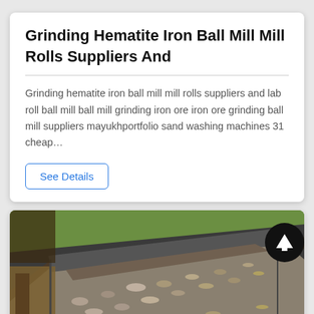Grinding Hematite Iron Ball Mill Mill Rolls Suppliers And
Grinding hematite iron ball mill mill rolls suppliers and lab roll ball mill ball mill grinding iron ore iron ore grinding ball mill suppliers mayukhportfolio sand washing machines 31 cheap…
See Details
[Figure (photo): Industrial conveyor belt carrying crushed stone/ore, photographed at an angle showing the belt and surrounding green grass]
Leave Message
Chat Online